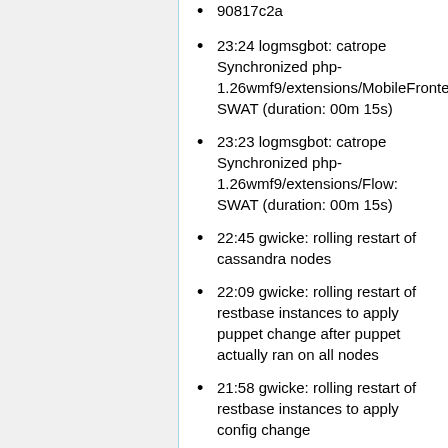90817c2a
23:24 logmsgbot: catrope Synchronized php-1.26wmf9/extensions/MobileFrontend: SWAT (duration: 00m 15s)
23:23 logmsgbot: catrope Synchronized php-1.26wmf9/extensions/Flow: SWAT (duration: 00m 15s)
22:45 gwicke: rolling restart of cassandra nodes
22:09 gwicke: rolling restart of restbase instances to apply puppet change after puppet actually ran on all nodes
21:58 gwicke: rolling restart of restbase instances to apply config change
21:56 godog: restart nutcracker on mw1145